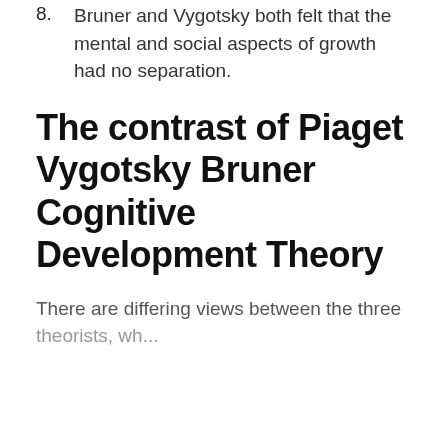8. Bruner and Vygotsky both felt that the mental and social aspects of growth had no separation.
The contrast of Piaget Vygotsky Bruner Cognitive Development Theory
There are differing views between the three theorists, which...